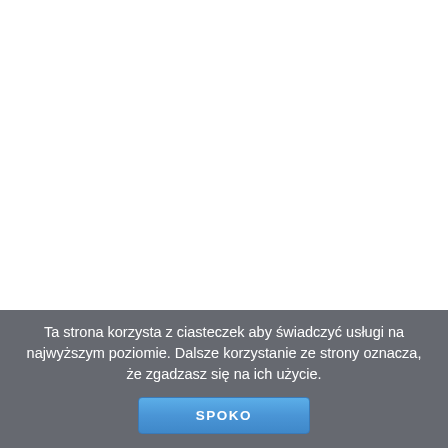Ta strona korzysta z ciasteczek aby świadczyć usługi na najwyższym poziomie. Dalsze korzystanie ze strony oznacza, że zgadzasz się na ich użycie.
SPOKO